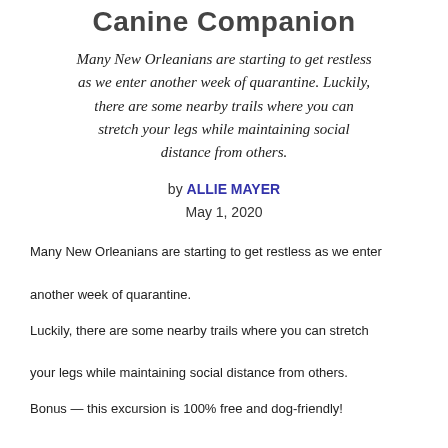Canine Companion
Many New Orleanians are starting to get restless as we enter another week of quarantine. Luckily, there are some nearby trails where you can stretch your legs while maintaining social distance from others.
by ALLIE MAYER
May 1, 2020
Many New Orleanians are starting to get restless as we enter another week of quarantine.
Luckily, there are some nearby trails where you can stretch your legs while maintaining social distance from others.
Bonus — this excursion is 100% free and dog-friendly!